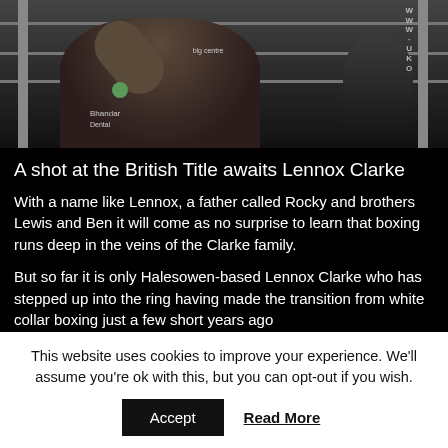[Figure (photo): Boxing match photo showing a boxer raising their arm in a boxing ring with ropes visible. A figure in dark clothing is visible on the right. Ring sponsor text visible including 'big centre' and 'WWWUKO'. The boxer's shorts show 'Bhandar Dental' branding.]
A shot at the British Title awaits Lennox Clarke
With a name like Lennox, a father called Rocky and brothers Lewis and Ben it will come as no surprise to learn that boxing runs deep in the veins of the Clarke family.
But so far it is only Halesowen-based Lennox Clarke who has stepped up into the ring having made the transition from white collar boxing just a few short years ago
Now the 28-year-old is gearing up towards a British Super
This website uses cookies to improve your experience. We'll assume you're ok with this, but you can opt-out if you wish.